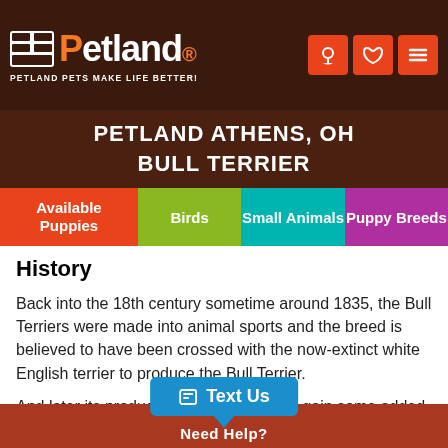Petland — PETLAND PETS MAKE LIFE BETTER!
PETLAND ATHENS, OH
BULL TERRIER
Available Puppies | Birds | Small Animals | Puppy Breeds
History
Back into the 18th century sometime around 1835, the Bull Terriers were made into animal sports and the breed is believed to have been crossed with the now-extinct white English terrier to produce the Bull Terrier.
And later its producers sought to have it gain some added prowess and decided to cross it with another powerful breed the Spanish pointer and that produced the bigger and more impressive si...r seen today. In 1885
Text Us | Need Help?